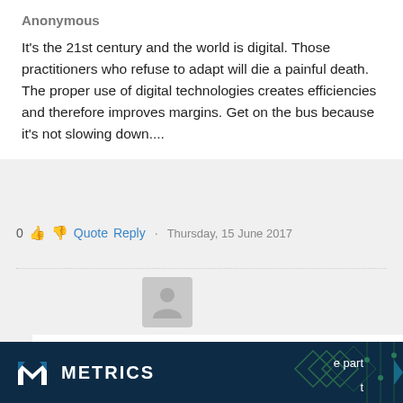Anonymous
It's the 21st century and the world is digital. Those practitioners who refuse to adapt will die a painful death. The proper use of digital technologies creates efficiencies and therefore improves margins. Get on the bus because it's not slowing down....
0  Quote  Reply  ·  Thursday, 15 June 2017
[Figure (illustration): User avatar placeholder icon (grey silhouette of a person)]
Anon.
So, every innovation using digital technology in the 21st century must be used because it guarantees marginal improvement? Is that
[Figure (logo): Metrics company logo banner at bottom of page with dark navy background, white M logo mark, METRICS text, and geometric pattern]